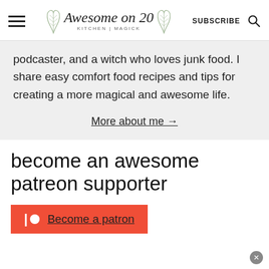Awesome on 20 | KITCHEN | MAGICK | SUBSCRIBE
podcaster, and a witch who loves junk food. I share easy comfort food recipes and tips for creating a more magical and awesome life.
More about me →
become an awesome patreon supporter
Become a patron